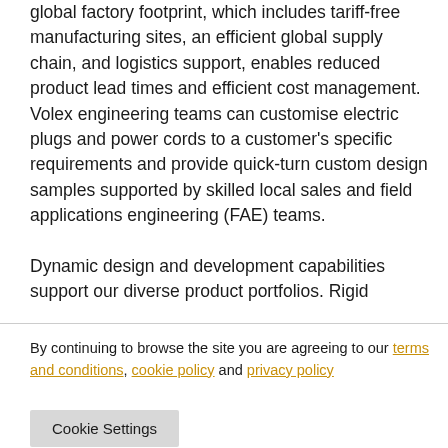global factory footprint, which includes tariff-free manufacturing sites, an efficient global supply chain, and logistics support, enables reduced product lead times and efficient cost management. Volex engineering teams can customise electric plugs and power cords to a customer's specific requirements and provide quick-turn custom design samples supported by skilled local sales and field applications engineering (FAE) teams.

Dynamic design and development capabilities support our diverse product portfolios. Rigid
By continuing to browse the site you are agreeing to our terms and conditions, cookie policy and privacy policy
Cookie Settings